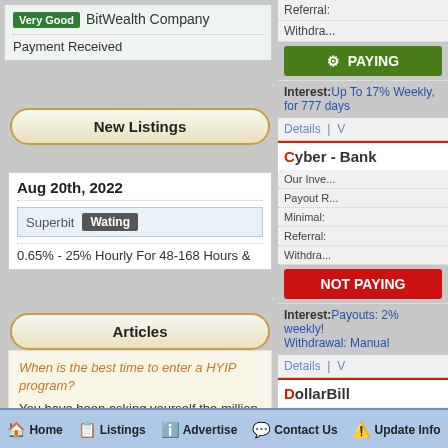Very Good | BitWealth Company
Payment Received
New Listings
Aug 20th, 2022
Superbit | Wating
0.65% - 25% Hourly For 48-168 Hours &
Articles
When is the best time to enter a HYIP program? You have been asking yourself the million dollar question? Well, if it was possible to know when is the best time to enter a HYIP program we would all be rich. more
What is HYIP? HYIP ,which stands for High Yield
Referral:
Withdra...
PAYING
Interest: Up To 17% Weekly, for 777 days
Details | V
Cyber - Bank
Our Inve...
Payout R...
Minimal:
Referral:
Withdra...
NOT PAYING
Interest: Payouts: 2% weekly! Withdrawal: Manual
Details | V
DollarBill
Our Inve...
Home | Listings | Advertise | Contact Us | Update Info